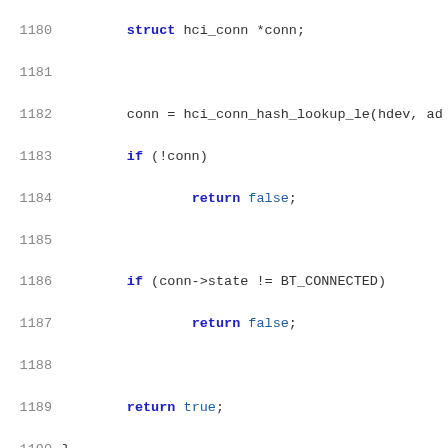Code listing lines 1180-1201 showing C source code for Bluetooth HCI connection functions